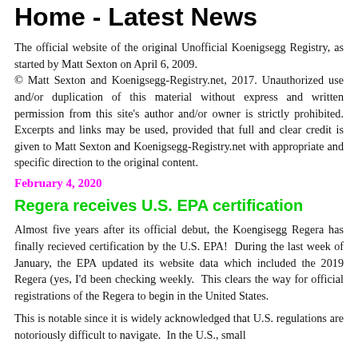Home - Latest News
The official website of the original Unofficial Koenigsegg Registry, as started by Matt Sexton on April 6, 2009.
© Matt Sexton and Koenigsegg-Registry.net, 2017. Unauthorized use and/or duplication of this material without express and written permission from this site's author and/or owner is strictly prohibited. Excerpts and links may be used, provided that full and clear credit is given to Matt Sexton and Koenigsegg-Registry.net with appropriate and specific direction to the original content.
February 4, 2020
Regera receives U.S. EPA certification
Almost five years after its official debut, the Koengisegg Regera has finally recieved certification by the U.S. EPA!  During the last week of January, the EPA updated its website data which included the 2019 Regera (yes, I'd been checking weekly.  This clears the way for official registrations of the Regera to begin in the United States.
This is notable since it is widely acknowledged that U.S. regulations are notoriously difficult to navigate.  In the U.S., small volumes manufacturers are subject to...